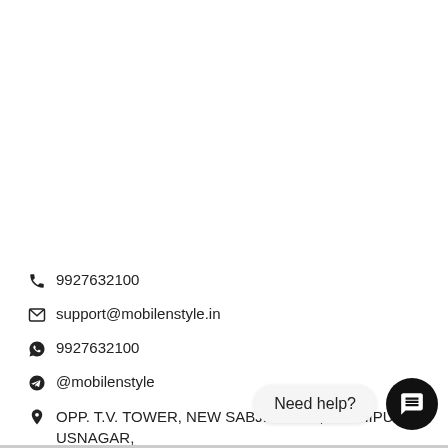📞 9927632100
✉ support@mobilenstyle.in
WhatsApp 9927632100
Telegram @mobilenstyle
OPP. T.V. TOWER, NEW SABJI MANDI, KASHIPUR, USNAGAR, 244713, UTTRAKHAND
[Figure (other): Chat widget with 'Need help?' label and circular chat button]